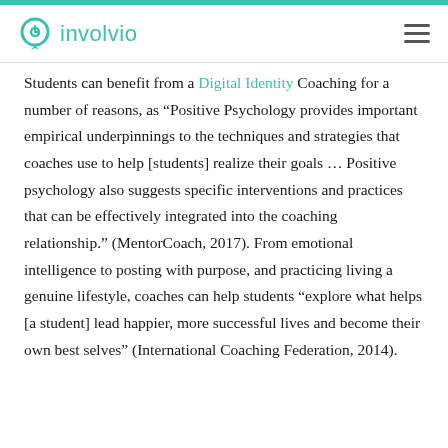involvio
Students can benefit from a Digital Identity Coaching for a number of reasons, as “Positive Psychology provides important empirical underpinnings to the techniques and strategies that coaches use to help [students] realize their goals … Positive psychology also suggests specific interventions and practices that can be effectively integrated into the coaching relationship.” (MentorCoach, 2017). From emotional intelligence to posting with purpose, and practicing living a genuine lifestyle, coaches can help students “explore what helps [a student] lead happier, more successful lives and become their own best selves” (International Coaching Federation, 2014).